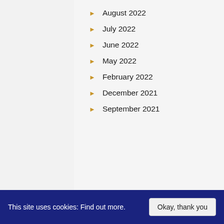August 2022
July 2022
June 2022
May 2022
February 2022
December 2021
September 2021
This site uses cookies: Find out more.
Okay, thank you